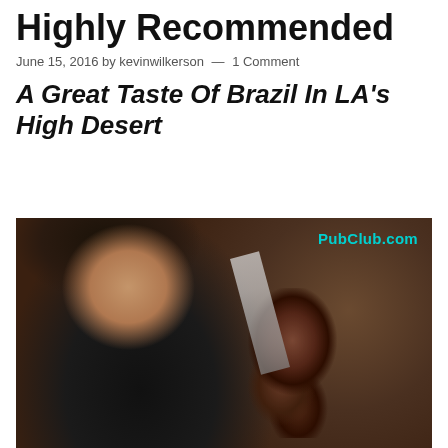Highly Recommended
June 15, 2016 by kevinwilkerson — 1 Comment
A Great Taste Of Brazil In LA's High Desert
[Figure (photo): A smiling woman in a black shirt holding a large skewer of roasted meat (churrasco) with both hands. A knife is visible. Watermark text 'PubClub.com' appears in cyan in the upper right of the photo.]